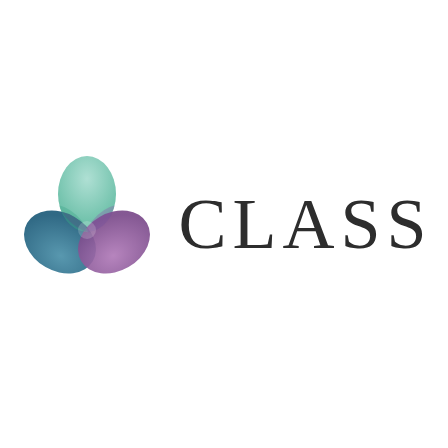[Figure (logo): CLASS logo: three overlapping leaf/petal shapes forming a trefoil — top petal is teal/mint green with gradient, bottom-left petal is teal/dark blue, bottom-right petal is purple/mauve — followed by the word CLASS in large dark serif letters]